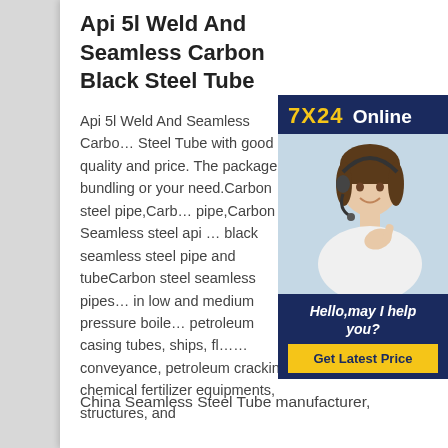Api 5l Weld And Seamless Carbon Black Steel Tube
[Figure (photo): Customer service advertisement widget showing a woman wearing a headset, with dark navy background, '7X24 Online' header in gold and white text, 'Hello,may I help you?' italic text, and a yellow 'Get Latest Price' button.]
Api 5l Weld And Seamless Carbon Black Steel Tube with good quality and price. The package is bundling or your need.Carbon steel pipe,Carbon pipe,Carbon Seamless steel api black seamless steel pipe and tubeCarbon steel seamless pipes in low and medium pressure boilers, petroleum casing tubes, ships, fluid conveyance, petroleum cracking, chemical fertilizer equipments, structures, and
China Seamless Steel Tube manufacturer,